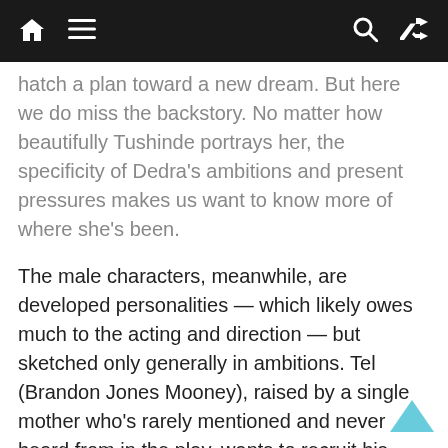Navigation bar with home, menu, search, and shuffle icons
hatch a plan toward a new dream. But here we do miss the backstory. No matter how beautifully Tushinde portrays her, the specificity of Dedra’s ambitions and present pressures makes us want to know more of where she’s been.
The male characters, meanwhile, are developed personalities — which likely owes much to the acting and direction — but sketched only generally in ambitions. Tel (Brandon Jones Mooney), raised by a single mother who’s rarely mentioned and never heard from in the play, wants to recruit his friend Crunch’s beatboxing skills to aid his rap ambitions. Crunch (Jordan-Michael Whidbey), the only one of the five who does not live at Riverwood, is passionate about painting and aims to study it in college — a next step clearly instilled in him as